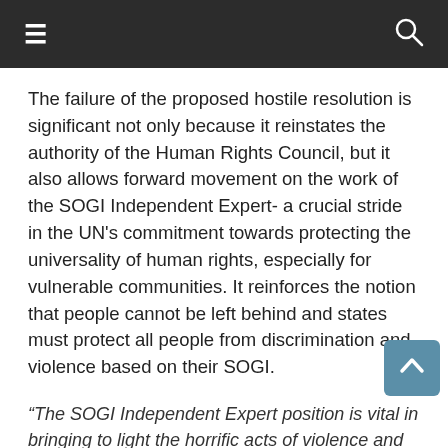≡  🔍
The failure of the proposed hostile resolution is significant not only because it reinstates the authority of the Human Rights Council, but it also allows forward movement on the work of the SOGI Independent Expert- a crucial stride in the UN's commitment towards protecting the universality of human rights, especially for vulnerable communities. It reinforces the notion that people cannot be left behind and states must protect all people from discrimination and violence based on their SOGI.
"The SOGI Independent Expert position is vital in bringing to light the horrific acts of violence and discrimination many people face because